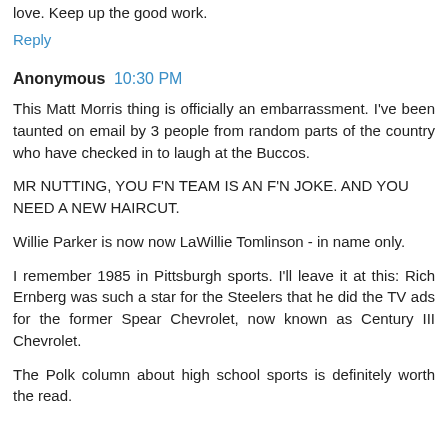love. Keep up the good work.
Reply
Anonymous  10:30 PM
This Matt Morris thing is officially an embarrassment. I've been taunted on email by 3 people from random parts of the country who have checked in to laugh at the Buccos.
MR NUTTING, YOU F'N TEAM IS AN F'N JOKE. AND YOU NEED A NEW HAIRCUT.
Willie Parker is now now LaWillie Tomlinson - in name only.
I remember 1985 in Pittsburgh sports. I'll leave it at this: Rich Ernberg was such a star for the Steelers that he did the TV ads for the former Spear Chevrolet, now known as Century III Chevrolet.
The Polk column about high school sports is definitely worth the read.